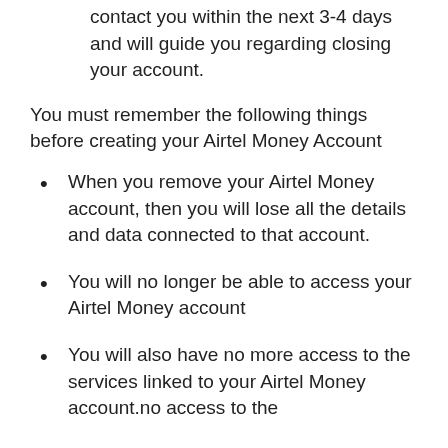contact you within the next 3-4 days and will guide you regarding closing your account.
You must remember the following things before creating your Airtel Money Account
When you remove your Airtel Money account, then you will lose all the details and data connected to that account.
You will no longer be able to access your Airtel Money account
You will also have no more access to the services linked to your Airtel Money account.no access to the